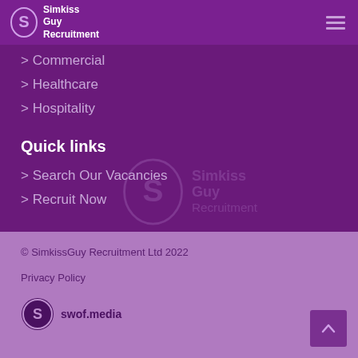[Figure (logo): Simkiss Guy Recruitment logo with stylized S icon in white on purple header bar]
> Commercial
> Healthcare
> Hospitality
Quick links
> Search Our Vacancies
> Recruit Now
[Figure (logo): Simkiss Guy Recruitment watermark logo overlaid on dark purple background]
© SimkissGuy Recruitment Ltd 2022
Privacy Policy
swof.media